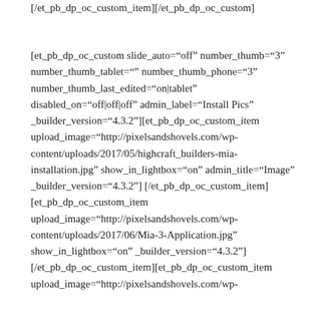[/et_pb_dp_oc_custom_item][/et_pb_dp_oc_custom]
[et_pb_dp_oc_custom slide_auto="off" number_thumb="3" number_thumb_tablet="" number_thumb_phone="3" number_thumb_last_edited="on|tablet" disabled_on="off|off|off" admin_label="Install Pics" _builder_version="4.3.2"][et_pb_dp_oc_custom_item upload_image="http://pixelsandshovels.com/wp-content/uploads/2017/05/highcraft_builders-mia-installation.jpg" show_in_lightbox="on" admin_title="Image" _builder_version="4.3.2"] [/et_pb_dp_oc_custom_item][et_pb_dp_oc_custom_item upload_image="http://pixelsandshovels.com/wp-content/uploads/2017/06/Mia-3-Application.jpg" show_in_lightbox="on" _builder_version="4.3.2"] [/et_pb_dp_oc_custom_item][et_pb_dp_oc_custom_item upload_image="http://pixelsandshovels.com/wp-